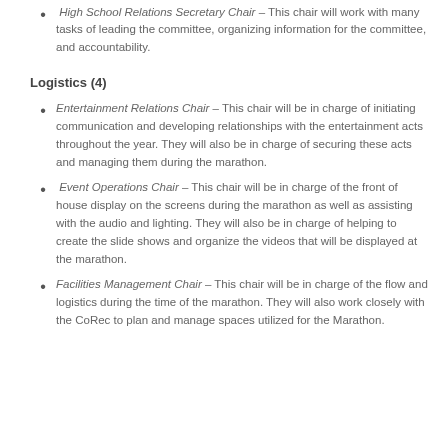They will work with the students in both planning and organizing their marathon both before and during the event.
High School Relations Secretary Chair – This chair will work with many tasks of leading the committee, organizing information for the committee, and accountability.
Logistics (4)
Entertainment Relations Chair – This chair will be in charge of initiating communication and developing relationships with the entertainment acts throughout the year. They will also be in charge of securing these acts and managing them during the marathon.
Event Operations Chair – This chair will be in charge of the front of house display on the screens during the marathon as well as assisting with the audio and lighting. They will also be in charge of helping to create the slide shows and organize the videos that will be displayed at the marathon.
Facilities Management Chair – This chair will be in charge of the flow and logistics during the time of the marathon. They will also work closely with the CoRec to plan and manage spaces utilized for the Marathon.